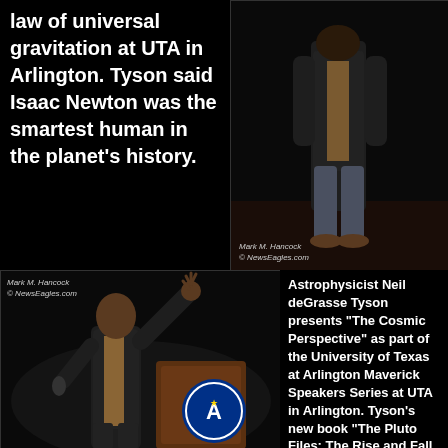law of universal gravitation at UTA in Arlington. Tyson said Isaac Newton was the smartest human in the planet's history.
[Figure (photo): Photograph of a man standing on a stage, seen from mid-body down, wearing a dark jacket and jeans. Photo credit: Mark M. Hancock / © NewsEagles.com]
[Figure (photo): Photograph of astrophysicist Neil deGrasse Tyson presenting on stage, raising his arm, with a University of Texas at Arlington podium visible. Photo credit: Mark M. Hancock / © NewsEagles.com]
Astrophysicist Neil deGrasse Tyson presents "The Cosmic Perspective" as part of the University of Texas at Arlington Maverick Speakers Series at UTA in Arlington. Tyson's new book "The Pluto Files: The Rise and Fall of America's Favorite Planet" addresses the debate